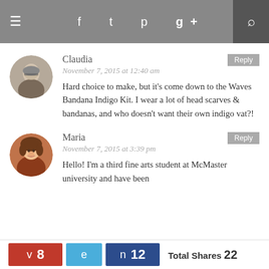Navigation bar with hamburger menu, social icons (f, twitter, pinterest, g+), and search
Claudia
November 7, 2015 at 12:40 am
Hard choice to make, but it's come down to the Waves Bandana Indigo Kit. I wear a lot of head scarves & bandanas, and who doesn't want their own indigo vat?!
Maria
November 7, 2015 at 3:39 pm
Hello! I'm a third fine arts student at McMaster university and have been
v 8  e  n 12  Total Shares 22